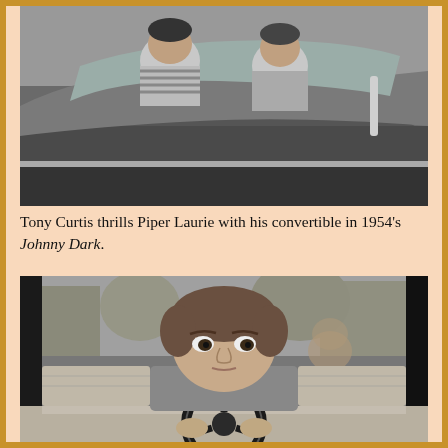[Figure (photo): Black and white film still showing Tony Curtis and Piper Laurie in a convertible car, viewed from outside the car, with the car's hood and windshield prominent. 1954 movie Johnny Dark.]
Tony Curtis thrills Piper Laurie with his convertible in 1954's Johnny Dark.
[Figure (photo): Black and white film still of a woman (Janet Leigh) sitting in driver's seat of a car, gripping the steering wheel, looking directly at camera with a serious expression. Another figure visible in background through rear window.]